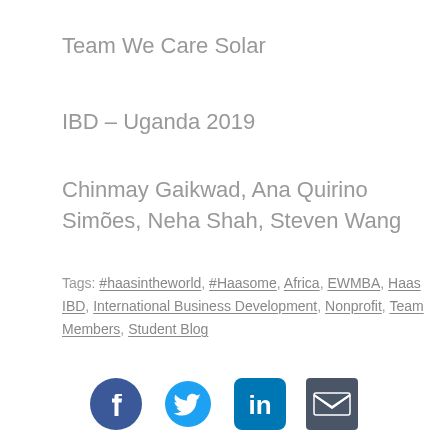Team We Care Solar
IBD – Uganda 2019
Chinmay Gaikwad, Ana Quirino Simões, Neha Shah, Steven Wang
Tags: #haasintheworld, #Haasome, Africa, EWMBA, Haas IBD, International Business Development, Nonprofit, Team Members, Student Blog
[Figure (infographic): Social media sharing icons: Facebook, Twitter, LinkedIn, Email]